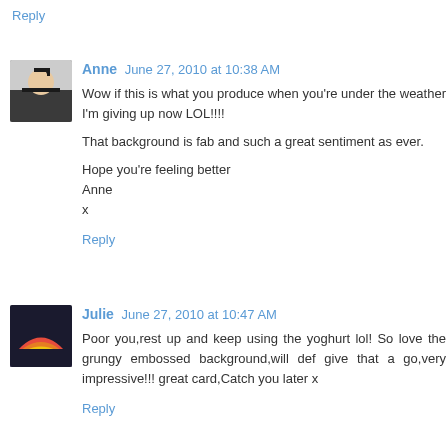Reply
Anne June 27, 2010 at 10:38 AM
Wow if this is what you produce when you're under the weather I'm giving up now LOL!!!!

That background is fab and such a great sentiment as ever.

Hope you're feeling better
Anne
x
Reply
Julie June 27, 2010 at 10:47 AM
Poor you,rest up and keep using the yoghurt lol! So love the grungy embossed background,will def give that a go,very impressive!!! great card,Catch you later x
Reply